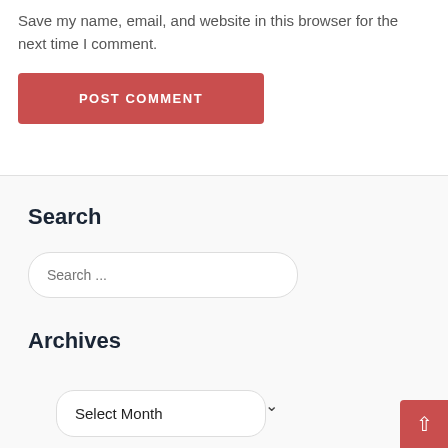Save my name, email, and website in this browser for the next time I comment.
POST COMMENT
Search
Search ...
Archives
Select Month